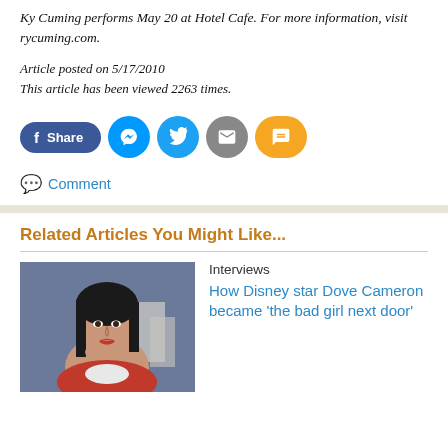Ky Cuming performs May 20 at Hotel Cafe. For more information, visit rycuming.com.
Article posted on 5/17/2010
This article has been viewed 2263 times.
[Figure (infographic): Social sharing buttons: Facebook Share, Messenger, Twitter, Email, SMS]
Comment
Related Articles You Might Like...
[Figure (photo): Photo of Dove Cameron, a young woman with dark hair, wearing a red and white outfit against a bluish-grey background]
Interviews
How Disney star Dove Cameron became 'the bad girl next door'